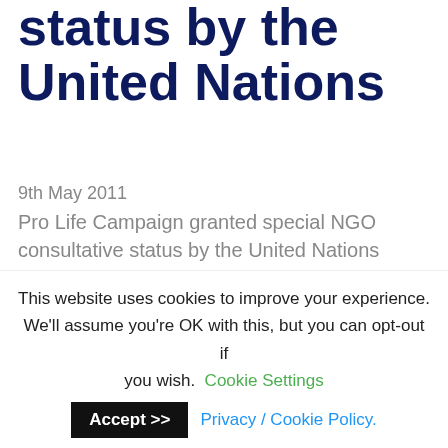status by the United Nations
9th May 2011
Pro Life Campaign granted special NGO consultative status by the United Nations
The Pro Life Campaign was recently granted special NGO consultative status by the United Nations. NGO
This website uses cookies to improve your experience. We'll assume you're OK with this, but you can opt-out if you wish. Cookie Settings Accept >> Privacy / Cookie Policy.